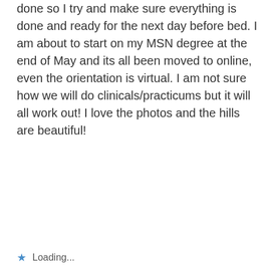done so I try and make sure everything is done and ready for the next day before bed. I am about to start on my MSN degree at the end of May and its all been moved to online, even the orientation is virtual. I am not sure how we will do clinicals/practicums but it will all work out! I love the photos and the hills are beautiful!
★ Loading...
MIRIAM LEIGH  May 5, 2020 at 2:46 pm  REPLY →
[Figure (screenshot): DuckDuckGo advertisement banner: orange background with text 'Search, browse, and email with more privacy. All in One Free App' and a phone mockup showing the DuckDuckGo logo and brand name.]